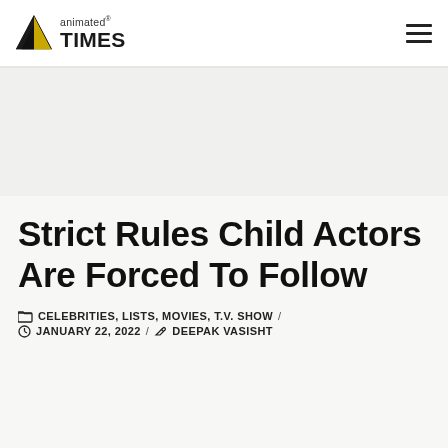animated® TIMES
Strict Rules Child Actors Are Forced To Follow
CELEBRITIES, LISTS, MOVIES, T.V. SHOW / JANUARY 22, 2022 / DEEPAK VASISHT